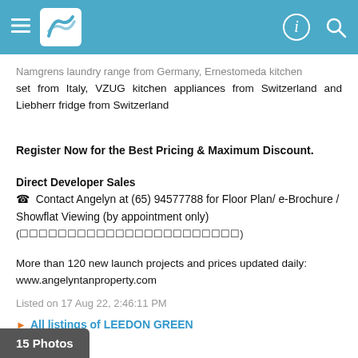Navigation header with hamburger menu, logo, info icon, and search icon
...range from Germany, Ernestomeda kitchen set from Italy, VZUG kitchen appliances from Switzerland and Liebherr fridge from Switzerland
Register Now for the Best Pricing & Maximum Discount.
Direct Developer Sales
☎ Contact Angelyn at (65) 94577788 for Floor Plan/ e-Brochure / Showflat Viewing (by appointment only)
(garbled text)
More than 120 new launch projects and prices updated daily: www.angelyntanproperty.com
Listed on 17 Aug 22, 2:46:11 PM
▶ All listings of LEEDON GREEN
15 Photos